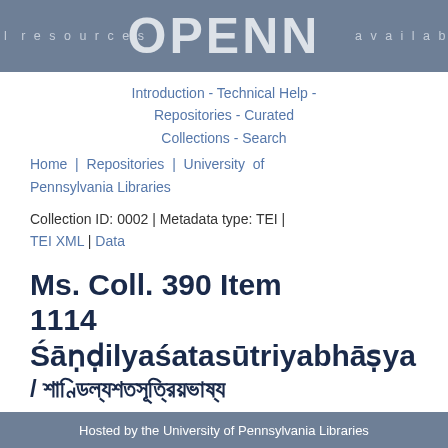l resources   OPENN   availab
Introduction - Technical Help - Repositories - Curated Collections - Search
Home | Repositories | University of Pennsylvania Libraries
Collection ID: 0002 | Metadata type: TEI | TEI XML | Data
Ms. Coll. 390 Item 1114 Śāṇḍilyaśatasūtriyabhāṣya / শাণ্ডিল্যশতসূত্রিয়ভাষ্য
Title
Śāṇḍilyaśatasūtriyabhāṣya
Hosted by the University of Pennsylvania Libraries